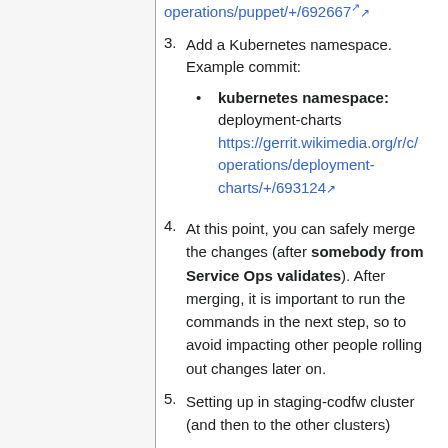operations/puppet/+/692667
3. Add a Kubernetes namespace. Example commit: kubernetes namespace: deployment-charts https://gerrit.wikimedia.org/r/c/operations/deployment-charts/+/693124
4. At this point, you can safely merge the changes (after somebody from Service Ops validates). After merging, it is important to run the commands in the next step, so to avoid impacting other people rolling out changes later on.
5. Setting up in staging-codfw cluster (and then to the other clusters)
On a cumin server